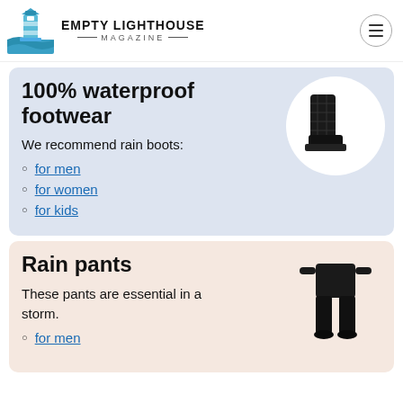EMPTY LIGHTHOUSE MAGAZINE
100% waterproof footwear
We recommend rain boots:
for men
for women
for kids
[Figure (photo): Black quilted knee-high rain boot on white circular background]
Rain pants
These pants are essential in a storm.
for men
[Figure (photo): Person wearing black rain pants, shown from waist down, on circular background]